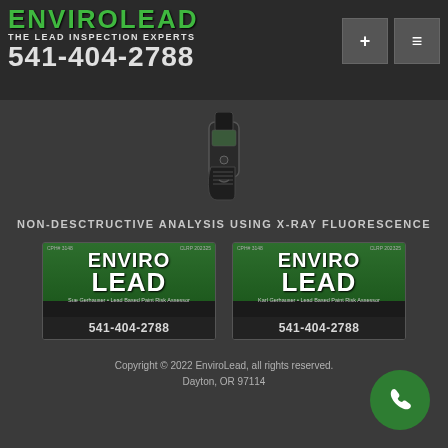[Figure (logo): EnviroLead logo with green text, tagline 'THE LEAD INSPECTION EXPERTS' and phone number 541-404-2788]
[Figure (photo): XRF (X-ray fluorescence) device used for lead inspection, shown against dark background]
NON-DESCTRUCTIVE ANALYSIS USING X-RAY FLUORESCENCE
[Figure (photo): EnviroLead business card for Sue Gerhauser, Lead Based Paint Risk Assessor, phone 541-404-2788]
[Figure (photo): EnviroLead business card for Karl Gerhauser, Lead Based Paint Risk Assessor, phone 541-404-2788]
Copyright © 2022 EnviroLead, all rights reserved. Dayton, OR 97114